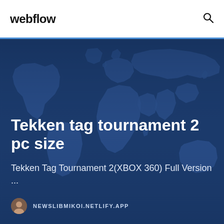webflow
[Figure (illustration): World map silhouette in dark blue tones used as hero background]
Tekken tag tournament 2 pc size
Tekken Tag Tournament 2(XBOX 360) Full Version ...
NEWSLIBMIKOI.NETLIFY.APP